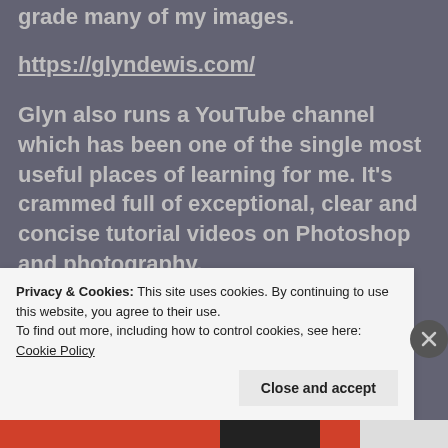grade many of my images.
https://glyndewis.com/
Glyn also runs a YouTube channel which has been one of the single most useful places of learning for me. It’s crammed full of exceptional, clear and concise tutorial videos on Photoshop and photography.
Check it out
Privacy & Cookies: This site uses cookies. By continuing to use this website, you agree to their use.
To find out more, including how to control cookies, see here: Cookie Policy
Close and accept